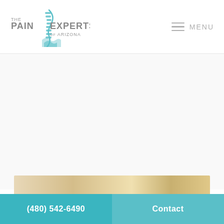[Figure (logo): The Pain Experts of Arizona logo with spine/wave graphic in teal and grey]
MENU
[Figure (photo): Partial view of a tan/gold background image strip]
(480) 542-6490
Contact